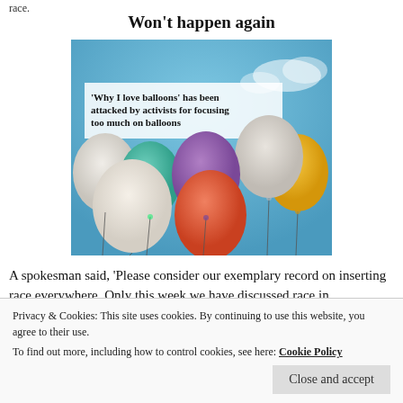race.
Won't happen again
[Figure (photo): Photo of colorful balloons (white, teal, purple, orange, yellow) floating against a blue sky, with an overlaid caption box reading: 'Why I love balloons' has been attacked by activists for focusing too much on balloons]
'Why I love balloons' has been attacked by activists for focusing too much on balloons
A spokesman said, 'Please consider our exemplary record on inserting race everywhere. Only this week we have discussed race in programmes about rugby, sausages, gardening, perfume and spectacles. This was a rare slip-up. We have
Privacy & Cookies: This site uses cookies. By continuing to use this website, you agree to their use.
To find out more, including how to control cookies, see here: Cookie Policy